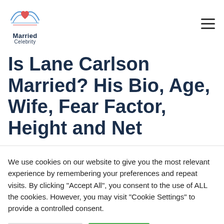Married Celebrity
Is Lane Carlson Married? His Bio, Age, Wife, Fear Factor, Height and Net
We use cookies on our website to give you the most relevant experience by remembering your preferences and repeat visits. By clicking "Accept All", you consent to the use of ALL the cookies. However, you may visit "Cookie Settings" to provide a controlled consent.